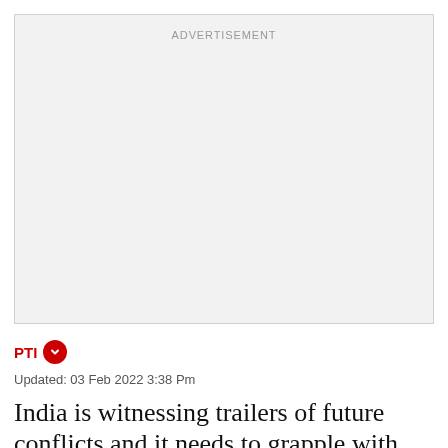[Figure (other): Advertisement placeholder box with light gray background and 'ADVERTISEMENT' label at top center]
PTI
Updated: 03 Feb 2022 3:38 Pm
India is witnessing trailers of future conflicts and it needs to grapple with effects